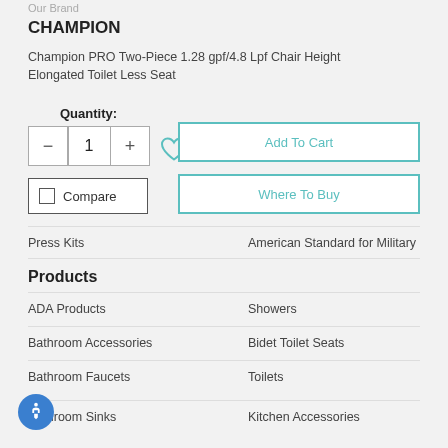Our Brand
CHAMPION
Champion PRO Two-Piece 1.28 gpf/4.8 Lpf Chair Height Elongated Toilet Less Seat
Quantity:
- 1 +
Add To Cart
Compare
Where To Buy
Press Kits
American Standard for Military
Products
ADA Products
Showers
Bathroom Accessories
Bidet Toilet Seats
Bathroom Faucets
Toilets
Bathroom Sinks
Kitchen Accessories